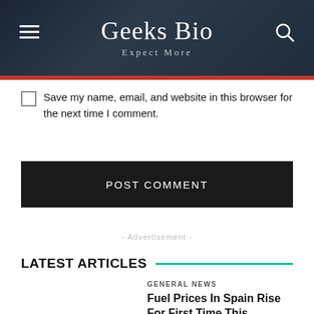Geeks Bio
Expect More
Save my name, email, and website in this browser for the next time I comment.
POST COMMENT
- Advertisement -
LATEST ARTICLES
GENERAL NEWS
Fuel Prices In Spain Rise For First Time This Summer